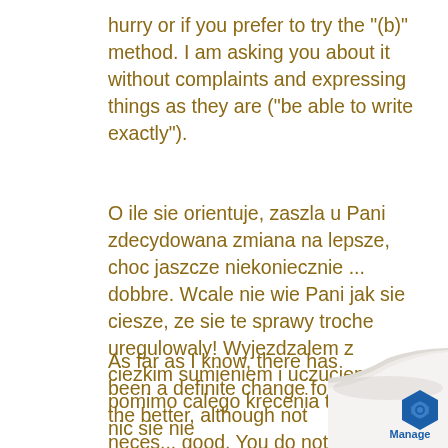hurry or if you prefer to try the "(b)" method. I am asking you about it without complaints and expressing things as they are ("be able to write exactly").
O ile sie orientuje, zaszla u Pani zdecydowana zmiana na lepsze, choc jaszcze niekoniecznie ... dobbre. Wcale nie wie Pani jak sie ciesze, ze sie te sprawy troche uregulowaly! Wyjezdzalem z ciezkim sumieniem i uczuciem, ze pomimo calego krecenia to nigdzie nic sie nie
As far as I know, there has been a definite change for the better, although not neces... good. You do not know how glad I am t
[Figure (logo): Page curl effect at bottom right with a blue hexagonal logo and the word 'Manage' below it]